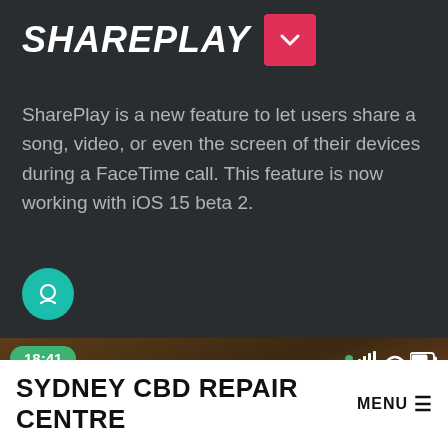SHAREPLAY
SharePlay is a new feature to let users share a song, video, or even the screen of their devices during a FaceTime call. This feature is now working with iOS 15 beta 2.
[Figure (screenshot): Screenshot of an iOS FaceTime call showing time 18:41, status bar with signal, wifi and battery icons, a FaceTime video call with person, and a picture-in-picture window]
SYDNEY CBD REPAIR CENTRE MENU ≡